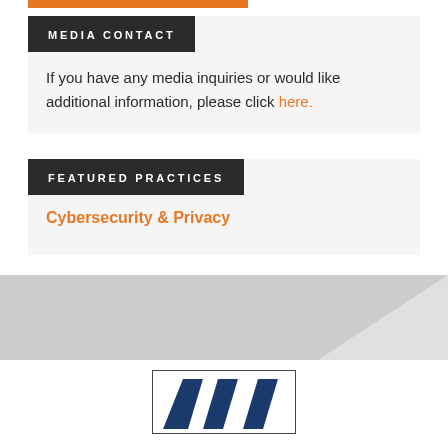MEDIA CONTACT
If you have any media inquiries or would like additional information, please click here.
FEATURED PRACTICES
Cybersecurity & Privacy
[Figure (logo): Law firm logo with three dark blue trapezoidal shapes arranged side by side]